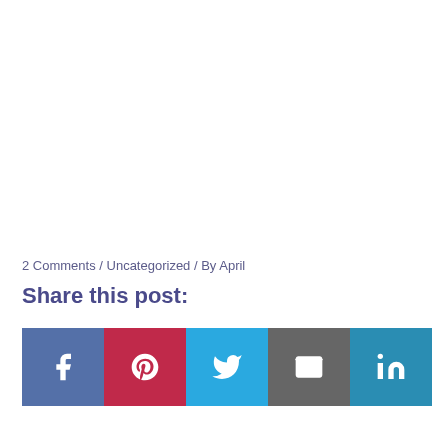2 Comments / Uncategorized / By April
Share this post:
[Figure (other): Social share buttons: Facebook, Pinterest, Twitter, Email, LinkedIn]